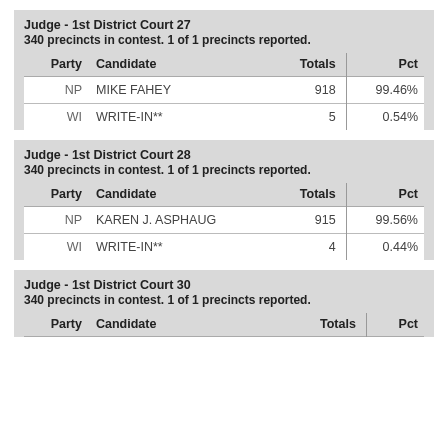| Party | Candidate | Totals | Pct |
| --- | --- | --- | --- |
| NP | MIKE FAHEY | 918 | 99.46% |
| WI | WRITE-IN** | 5 | 0.54% |
| Party | Candidate | Totals | Pct |
| --- | --- | --- | --- |
| NP | KAREN J. ASPHAUG | 915 | 99.56% |
| WI | WRITE-IN** | 4 | 0.44% |
| Party | Candidate | Totals | Pct |
| --- | --- | --- | --- |